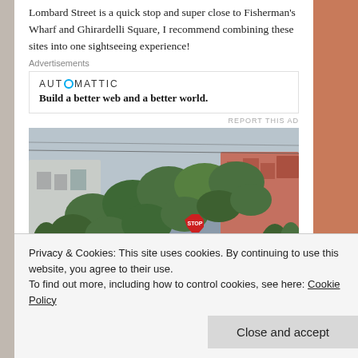Lombard Street is a quick stop and super close to Fisherman's Wharf and Ghirardelli Square, I recommend combining these sites into one sightseeing experience!
Advertisements
[Figure (screenshot): Automattic advertisement: logo reading AUTOMATTIC with a circle-dot icon, tagline 'Build a better web and a better world.']
[Figure (photo): Street-level photograph of Lombard Street in San Francisco showing the famous winding road with lush greenery, tourists walking on sidewalks, a red minivan driving on the street, and residential buildings with trees on a cloudy day.]
Privacy & Cookies: This site uses cookies. By continuing to use this website, you agree to their use.
To find out more, including how to control cookies, see here: Cookie Policy
Close and accept